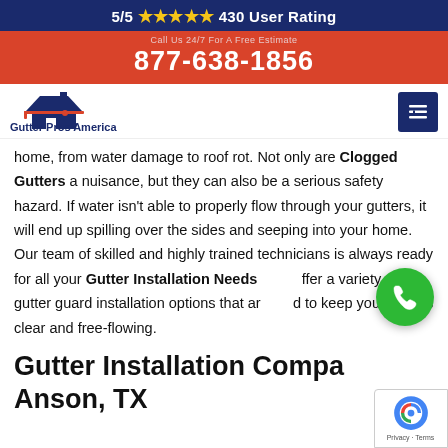5/5 ★★★★★ 430 User Rating
877-638-1856
[Figure (logo): Gutter Pros America logo with house icon and company name]
home, from water damage to roof rot. Not only are Clogged Gutters a nuisance, but they can also be a serious safety hazard. If water isn't able to properly flow through your gutters, it will end up spilling over the sides and seeping into your home. Our team of skilled and highly trained technicians is always ready for all your Gutter Installation Needs. We offer a variety of gutter guard installation options that are designed to keep your gutters clear and free-flowing.
Gutter Installation Company in Anson, TX